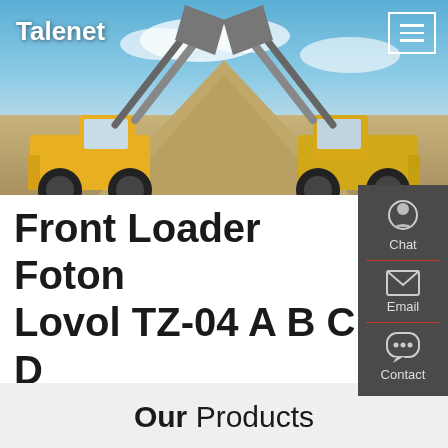[Figure (photo): Hero banner image showing two large yellow front loader machines (Foton Lovol type) facing each other with raised buckets, set against a blue sky with a dirt/sand mound in the background.]
Talenet
Front Loader Foton Lovol TZ-04 A B C D
Our Products